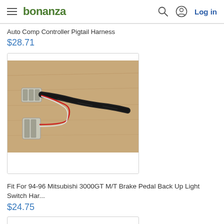bonanza  Log in
Auto Comp Controller Pigtail Harness
$28.71
[Figure (photo): Photo of a wiring harness/pigtail connector with two white plastic connectors and bundled black and red wires on a wooden surface]
Fit For 94-96 Mitsubishi 3000GT M/T Brake Pedal Back Up Light Switch Har...
$24.75